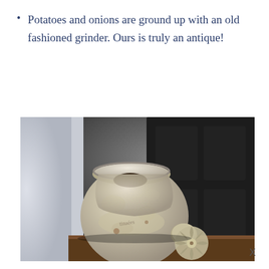Potatoes and onions are ground up with an old fashioned grinder. Ours is truly an antique!
[Figure (photo): Close-up photograph of an antique metal meat grinder, showing its worn, silvery-beige body with a wide funnel opening at the top and a star-shaped cutting blade at the side, set against a dark background.]